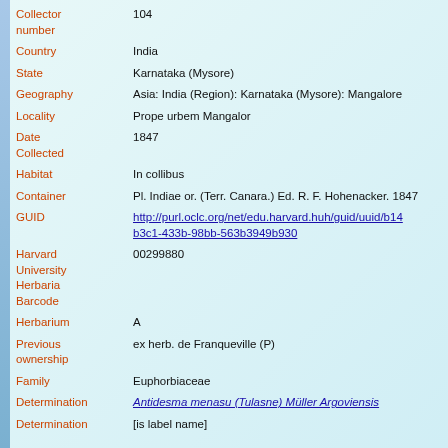| Field | Value |
| --- | --- |
| Collector number | 104 |
| Country | India |
| State | Karnataka (Mysore) |
| Geography | Asia: India (Region): Karnataka (Mysore): Mangalore |
| Locality | Prope urbem Mangalor |
| Date Collected | 1847 |
| Habitat | In collibus |
| Container | Pl. Indiae or. (Terr. Canara.) Ed. R. F. Hohenacker. 1847 |
| GUID | http://purl.oclc.org/net/edu.harvard.huh/guid/uuid/b14...b3c1-433b-98bb-563b3949b930 |
| Harvard University Herbaria Barcode | 00299880 |
| Herbarium | A |
| Previous ownership | ex herb. de Franqueville (P) |
| Family | Euphorbiaceae |
| Determination | Antidesma menasu (Tulasne) Müller Argoviensis |
| Determination | [is label name] |